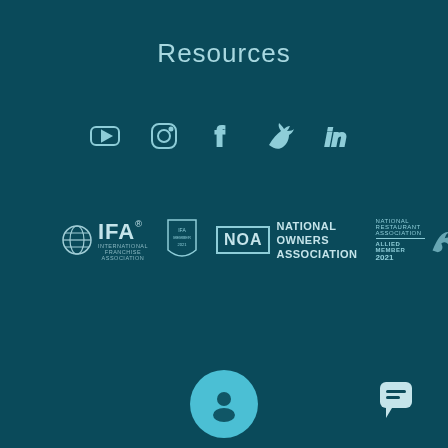Resources
[Figure (illustration): Row of social media icons: YouTube (play button), Instagram (camera outline), Facebook (f), Twitter (bird), LinkedIn (in) — all in teal outline style on dark teal background]
[Figure (logo): IFA International Franchise Association logo with globe icon and text]
[Figure (logo): IFA member logo badge]
[Figure (logo): NOA National Owners Association logo — boxed NOA with text NATIONAL OWNERS ASSOCIATION]
[Figure (logo): National Restaurant Association Allied Member 2021 logo with cloud swoosh]
[Figure (illustration): Teal circular user/person icon button]
[Figure (illustration): GET DEMO teal rounded rectangle button with dark teal text in uppercase]
[Figure (illustration): Chat bubble icon in bottom right corner]